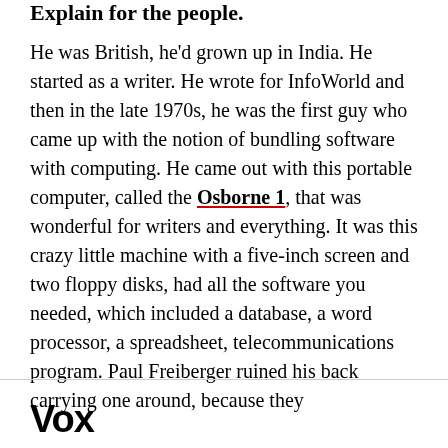Explain for the people.
He was British, he'd grown up in India. He started as a writer. He wrote for InfoWorld and then in the late 1970s, he was the first guy who came up with the notion of bundling software with computing. He came out with this portable computer, called the Osborne 1, that was wonderful for writers and everything. It was this crazy little machine with a five-inch screen and two floppy disks, had all the software you needed, which included a database, a word processor, a spreadsheet, telecommunications program. Paul Freiberger ruined his back carrying one around, because they
Vox